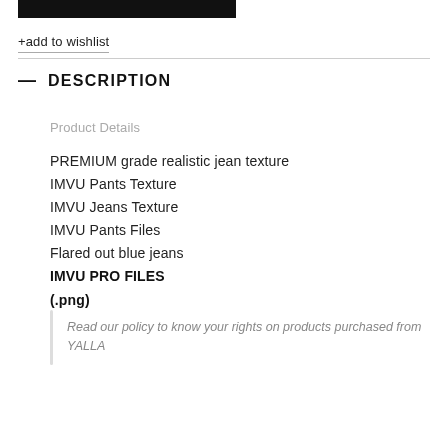[Figure (other): Black rectangle bar at top of page]
+add to wishlist
— DESCRIPTION
Product Details
PREMIUM grade realistic jean texture
IMVU Pants Texture
IMVU Jeans Texture
IMVU Pants Files
Flared out blue jeans
IMVU PRO FILES
(.png)
Read our policy to know your rights on products purchased from YALLA